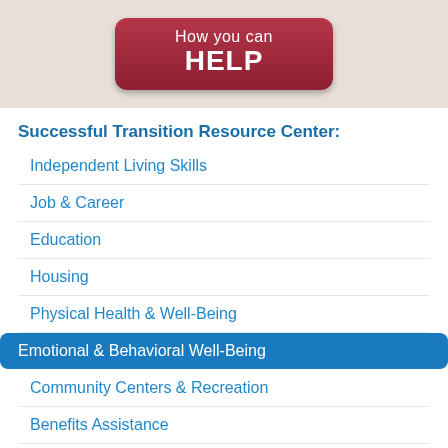How you can HELP
Successful Transition Resource Center:
Independent Living Skills
Job & Career
Education
Housing
Physical Health & Well-Being
Emotional & Behavioral Well-Being
Community Centers & Recreation
Benefits Assistance